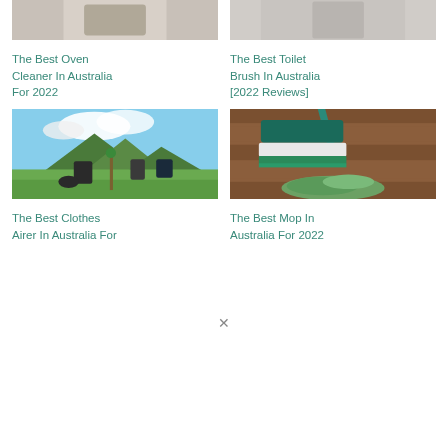[Figure (photo): Partial photo of oven cleaner product (cropped at top)]
[Figure (photo): Partial photo of toilet brush product (cropped at top)]
The Best Oven Cleaner In Australia For 2022
The Best Toilet Brush In Australia [2022 Reviews]
[Figure (photo): Green field with mountains in the background, clothes hanging on a fence post - clothes airer in outdoor setting]
[Figure (photo): Green mop with microfiber pad on a wooden floor, with a green cloth nearby]
The Best Clothes Airer In Australia For
The Best Mop In Australia For 2022